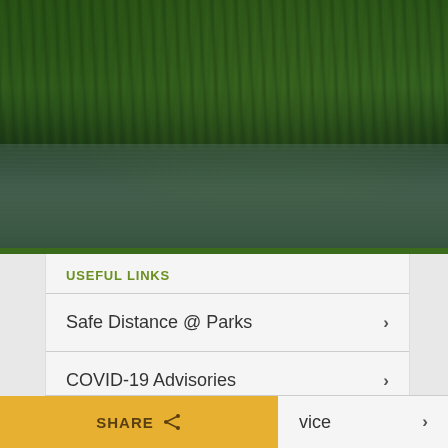[Figure (photo): Aerial or ground-level view of dense green forest/trees reflected in calm dark water, forming the hero banner background of the National Parks Board website.]
National Parks Board
COVID-19 ADVISORIES
USEFUL LINKS
Safe Distance @ Parks
COVID-19 Advisories
Apply for Permit & Licences
vice
SHARE